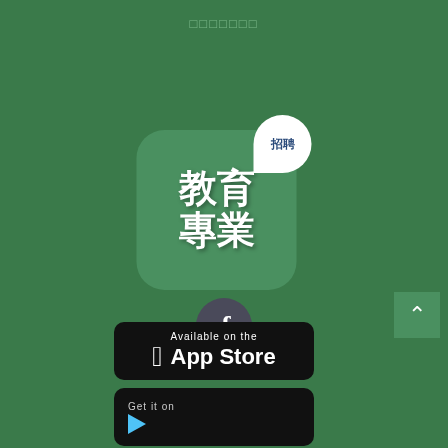□□□□□□□
[Figure (logo): App icon with green rounded square background, Chinese characters 教育專業 (Education Professional), and a white speech bubble with 招聘 (Recruitment)]
[Figure (logo): Facebook circular icon with dark grey background and white letter f]
□□□□□□□□
[Figure (other): Green square scroll-to-top button with white caret/arrow pointing up]
[Figure (logo): Apple App Store download badge - black rounded rectangle with Apple logo and text 'Available on the App Store']
[Figure (logo): Google Play Store download badge - black rounded rectangle with 'Get it on' text and Play Store triangle logo]